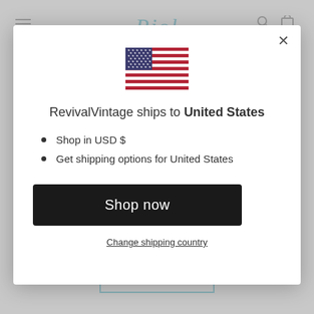[Figure (screenshot): Background of a website (RevivalVintage) showing a blurred/grayed-out webpage with a teal cursive logo at top and a teal-bordered rectangular element at the bottom]
[Figure (illustration): US flag SVG icon — blue canton with white stars, red and white horizontal stripes]
RevivalVintage ships to United States
Shop in USD $
Get shipping options for United States
Shop now
Change shipping country